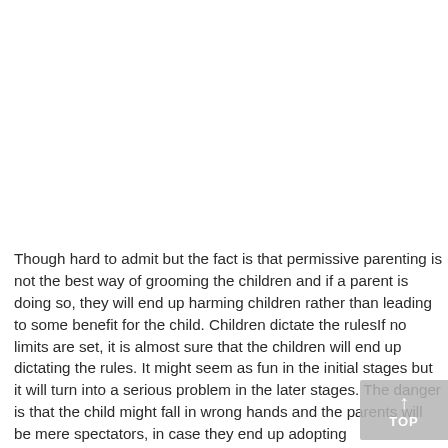Though hard to admit but the fact is that permissive parenting is not the best way of grooming the children and if a parent is doing so, they will end up harming children rather than leading to some benefit for the child. Children dictate the rulesIf no limits are set, it is almost sure that the children will end up dictating the rules. It might seem as fun in the initial stages but it will turn into a serious problem in the later stages. The danger is that the child might fall in wrong hands and the parents will be mere spectators, in case they end up adopting permissive parenting, the child will definitely become a brat. Being overprotective a...